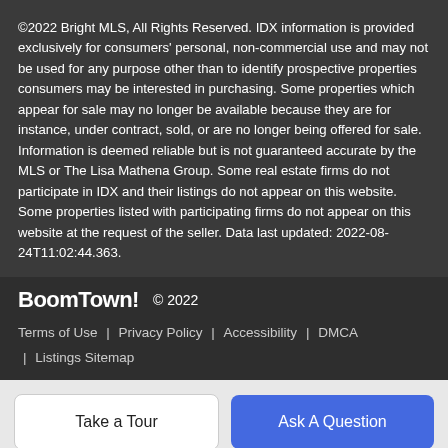©2022 Bright MLS, All Rights Reserved. IDX information is provided exclusively for consumers' personal, non-commercial use and may not be used for any purpose other than to identify prospective properties consumers may be interested in purchasing. Some properties which appear for sale may no longer be available because they are for instance, under contract, sold, or are no longer being offered for sale. Information is deemed reliable but is not guaranteed accurate by the MLS or The Lisa Mathena Group. Some real estate firms do not participate in IDX and their listings do not appear on this website. Some properties listed with participating firms do not appear on this website at the request of the seller. Data last updated: 2022-08-24T11:02:44.363.
BoomTown! © 2022 | Terms of Use | Privacy Policy | Accessibility | DMCA | Listings Sitemap
Take a Tour | Ask A Question